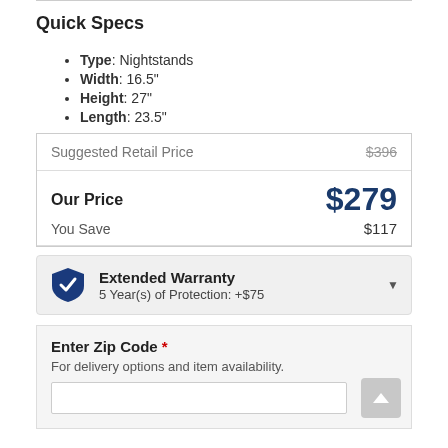Quick Specs
Type: Nightstands
Width: 16.5"
Height: 27"
Length: 23.5"
|  |  |
| --- | --- |
| Suggested Retail Price | $396 |
| Our Price | $279 |
| You Save | $117 |
Extended Warranty — 5 Year(s) of Protection: +$75
Enter Zip Code * — For delivery options and item availability.